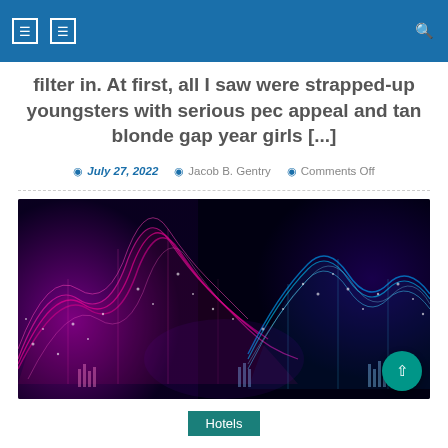Navigation bar with icons
filter in. At first, all I saw were strapped-up youngsters with serious pec appeal and tan blonde gap year girls [...]
July 27, 2022  Jacob B. Gentry  Comments Off
[Figure (photo): Abstract digital data visualization with glowing pink and blue wave-like mesh structures against a dark background, resembling mountainous terrain made of light particles]
Hotels